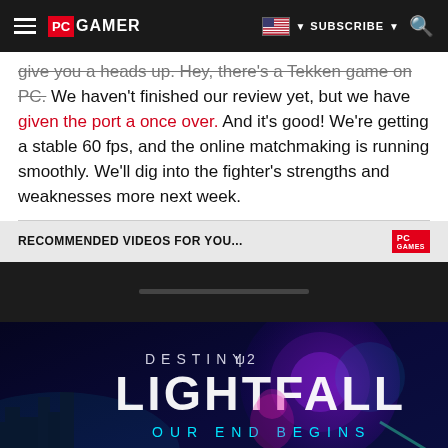PC GAMER | SUBSCRIBE | [search]
give you a heads up. Hey, there's a Tekken game on PC. We haven't finished our review yet, but we have given the port a once over. And it's good! We're getting a stable 60 fps, and the online matchmaking is running smoothly. We'll dig into the fighter's strengths and weaknesses more next week.
RECOMMENDED VIDEOS FOR YOU...
[Figure (screenshot): Video player dark area with progress bar and Destiny 2 Lightfall advertisement below showing 'OUR END BEGINS' and 'PRE-ORDER NOW' button]